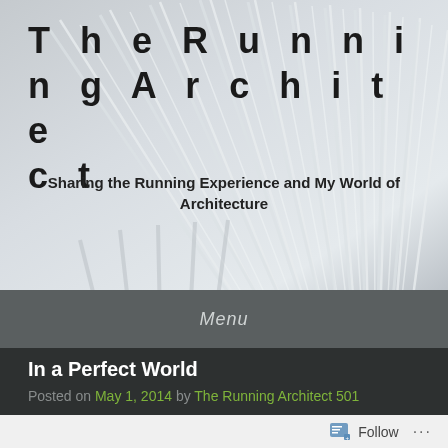[Figure (photo): Architectural photo background showing white structural lines/ribs fanning out against a light grey sky, used as a header banner image]
TheRunningArchitect
Sharing the Running Experience and My World of Architecture
Menu
In a Perfect World
Posted on May 1, 2014 by The Running Architect 501
Follow ...